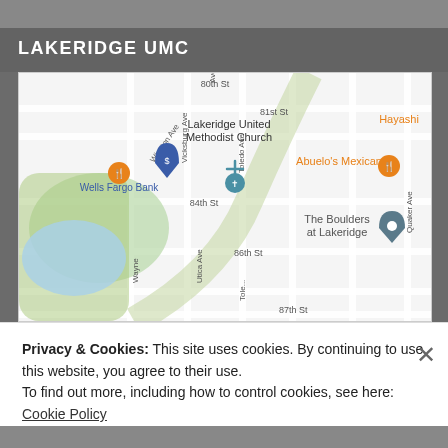LAKERIDGE UMC
[Figure (map): Google Maps view showing Lakeridge United Methodist Church location, with nearby landmarks including Wells Fargo Bank, Abuelo's Mexican restaurant, Hayashi, The Boulders at Lakeridge. Streets visible: 80th St, 81st St, 84th St, 86th St, 87th St, Vicksburg Ave, Toledo Ave, Utica Ave, Quaker Ave, Wayne, Winston Ave.]
Privacy & Cookies: This site uses cookies. By continuing to use this website, you agree to their use.
To find out more, including how to control cookies, see here: Cookie Policy
Close and accept